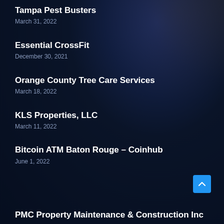Tampa Pest Busters
March 31, 2022
Essential CrossFit
December 30, 2021
Orange County Tree Care Services
March 18, 2022
KLS Properties, LLC
March 11, 2022
Bitcoin ATM Baton Rouge – Coinhub
June 1, 2022
PMC Property Maintenance & Construction Inc